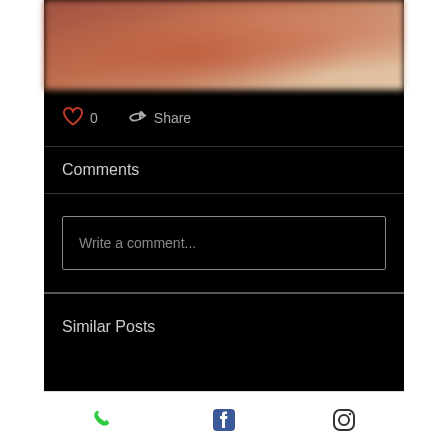[Figure (photo): Blurred food/hands photo at top of mobile app screen]
0  Share
Comments
Write a comment...
Similar Posts
[Figure (screenshot): Bottom navigation bar with phone, Facebook, and Instagram icons]